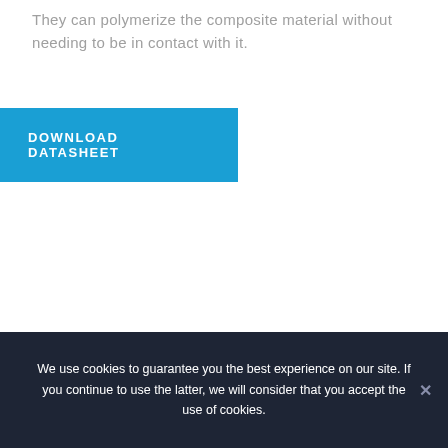They can polymerize the composite material without needing to be in contact with it.
DOWNLOAD DATASHEET
We use cookies to guarantee you the best experience on our site. If you continue to use the latter, we will consider that you accept the use of cookies.